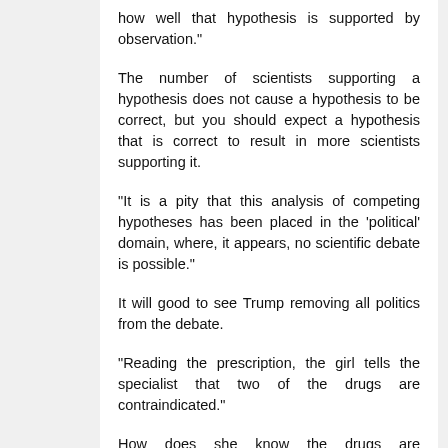how well that hypothesis is supported by observation."
The number of scientists supporting a hypothesis does not cause a hypothesis to be correct, but you should expect a hypothesis that is correct to result in more scientists supporting it.
"It is a pity that this analysis of competing hypotheses has been placed in the 'political' domain, where, it appears, no scientific debate is possible."
It will good to see Trump removing all politics from the debate.
"Reading the prescription, the girl tells the specialist that two of the drugs are contraindicated."
How does she know the drugs are contraindicated? Is it because of expert opinion